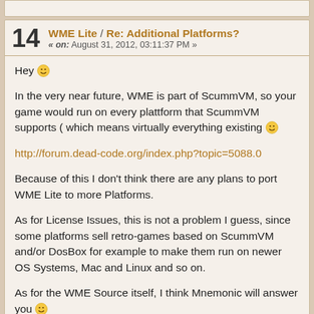(truncated top post)
14  WME Lite / Re: Additional Platforms?  « on: August 31, 2012, 03:11:37 PM »
Hey :) In the very near future, WME is part of ScummVM, so your game would run on every plattform that ScummVM supports ( which means virtually everything existing :) http://forum.dead-code.org/index.php?topic=5088.0 Because of this I don't think there are any plans to port WME Lite to more Platforms. As for License Issues, this is not a problem I guess, since some platforms sell retro-games based on ScummVM and/or DosBox for example to make them run on newer OS Systems, Mac and Linux and so on. As for the WME Source itself, I think Mnemonic will answer you :) Greets, Spellbreaker
15  Technical forum / Re: Curved scale line?  « on: August 26, 2012, 02:22:43 PM »
Hey there!